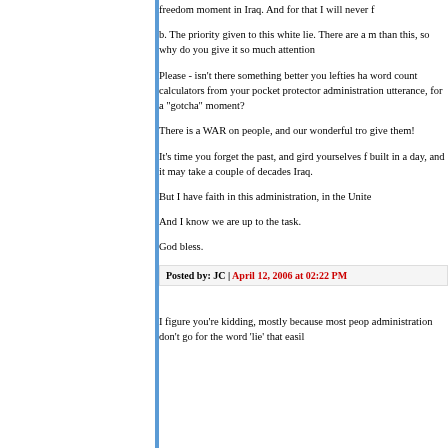freedom moment in Iraq. And for that I will never f
b. The priority given to this white lie. There are a m than this, so why do you give it so much attention
Please - isn't there something better you lefties ha word count calculators from your pocket protector administration utterance, for a "gotcha" moment?
There is a WAR on people, and our wonderful tro give them!
It's time you forget the past, and gird yourselves f built in a day, and it may take a couple of decades Iraq.
But I have faith in this administration, in the Unite
And I know we are up to the task.
God bless.
Posted by: JC | April 12, 2006 at 02:22 PM
I figure you're kidding, mostly because most peop administration don't go for the word 'lie' that easil